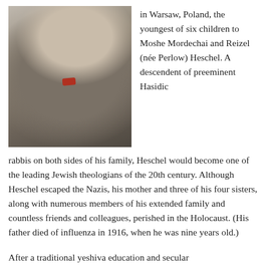[Figure (photo): Colorized black-and-white photograph of Abraham Joshua Heschel, a man in a suit and bowtie, holding a book or document, standing outdoors near a building.]
in Warsaw, Poland, the youngest of six children to Moshe Mordechai and Reizel (née Perlow) Heschel. A descendent of preeminent Hasidic rabbis on both sides of his family, Heschel would become one of the leading Jewish theologians of the 20th century. Although Heschel escaped the Nazis, his mother and three of his four sisters, along with numerous members of his extended family and countless friends and colleagues, perished in the Holocaust. (His father died of influenza in 1916, when he was nine years old.)
After a traditional yeshiva education and secular